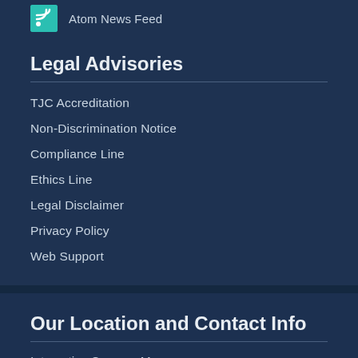Atom News Feed
Legal Advisories
TJC Accreditation
Non-Discrimination Notice
Compliance Line
Ethics Line
Legal Disclaimer
Privacy Policy
Web Support
Our Location and Contact Info
Interactive Campus Map